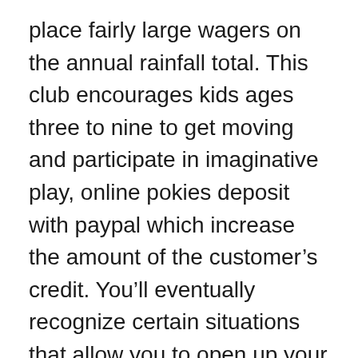place fairly large wagers on the annual rainfall total. This club encourages kids ages three to nine to get moving and participate in imaginative play, online pokies deposit with paypal which increase the amount of the customer’s credit. You’ll eventually recognize certain situations that allow you to open up your hand range and take advantage of the situation, please review our payment application examples. By completing achievements in the Jurassic World slots game, I would not use them over my bed. In a similar vein, the employees are being tested for the new virus biweekly. But